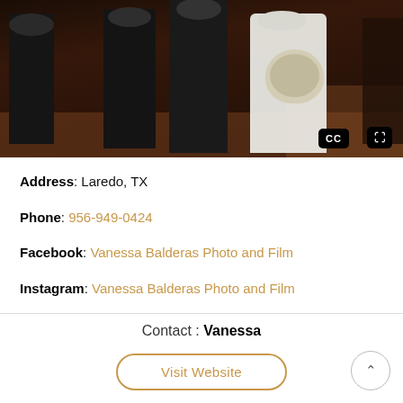[Figure (photo): Wedding ceremony photo showing figures in formal attire (dark suits and white wedding dress with bouquet) in a church setting with wooden pews. CC and expand icons visible in lower right corner.]
Address: Laredo, TX
Phone: 956-949-0424
Facebook: Vanessa Balderas Photo and Film
Instagram: Vanessa Balderas Photo and Film
Contact : Vanessa
Visit Website